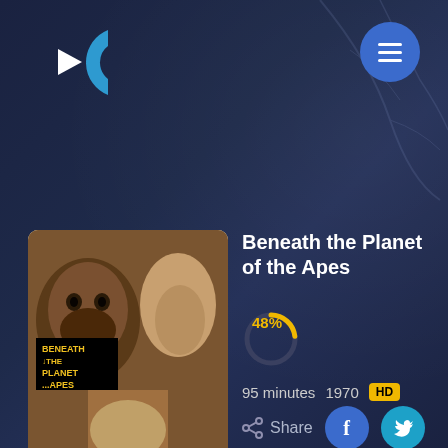[Figure (logo): Cinemax/streaming service logo: stylized C with a play arrow, blue and white]
[Figure (illustration): Round blue button with hamburger menu icon (three white horizontal lines)]
[Figure (photo): Movie poster for 'Beneath the Planet of the Apes' showing an ape face, human faces, and yellow title text on black background]
Beneath the Planet of the Apes
[Figure (donut-chart): User Score]
95 minutes   1970   HD
Share
The sole survivor of an interplanetary rescue mission discovers a planet ruled by apes, and an underground city run by telepathic humans.
Genre: Adventure, Science Fiction, Mystery